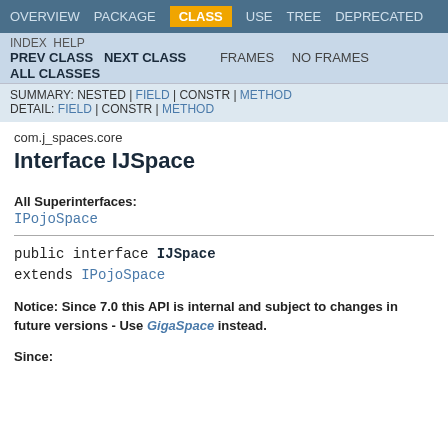OVERVIEW  PACKAGE  CLASS  USE  TREE  DEPRECATED
INDEX  HELP  PREV CLASS  NEXT CLASS  FRAMES  NO FRAMES  ALL CLASSES
SUMMARY: NESTED | FIELD | CONSTR | METHOD  DETAIL: FIELD | CONSTR | METHOD
com.j_spaces.core
Interface IJSpace
All Superinterfaces:
IPojoSpace
public interface IJSpace
extends IPojoSpace
Notice: Since 7.0 this API is internal and subject to changes in future versions - Use GigaSpace instead.
Since: